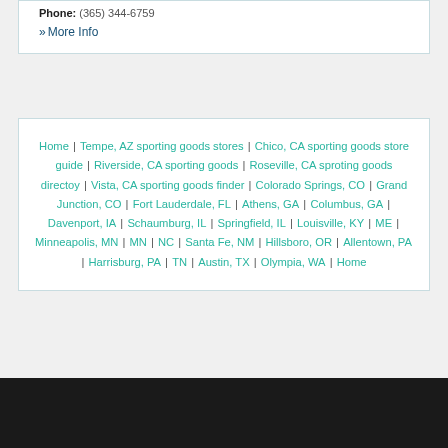Phone: (365) 344-6759
» More Info
Home | Tempe, AZ sporting goods stores | Chico, CA sporting goods store guide | Riverside, CA sporting goods | Roseville, CA sproting goods directoy | Vista, CA sporting goods finder | Colorado Springs, CO | Grand Junction, CO | Fort Lauderdale, FL | Athens, GA | Columbus, GA | Davenport, IA | Schaumburg, IL | Springfield, IL | Louisville, KY | ME | Minneapolis, MN | MN | NC | Santa Fe, NM | Hillsboro, OR | Allentown, PA | Harrisburg, PA | TN | Austin, TX | Olympia, WA | Home